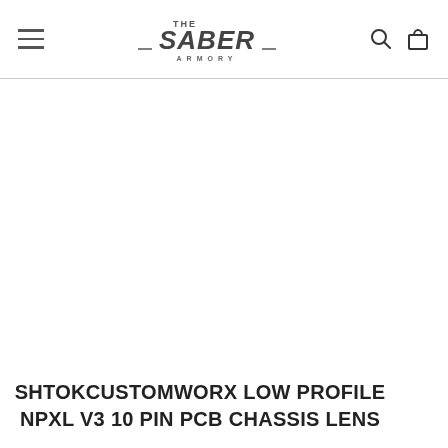THE SABER ARMORY
[Figure (photo): Product image area — largely empty white space for product photo]
SHTOKCUSTOMWORX LOW PROFILE NPXL V3 10 PIN PCB CHASSIS LENS